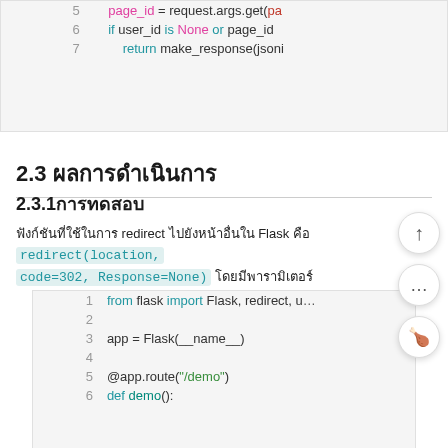[Figure (screenshot): Code snippet showing lines 5-7 of Python code with page_id variable, if user_id is None or page_id condition, and return make_response(jsoni... (truncated)]
2.3 ผลการดำเนินการ
2.3.1 การทดสอบ
ฟังก์ชันที่ใช้ในการ redirect ไปยังหน้าอื่นใน Flask คือ redirect(location, code=302, Response=None) โดยมีพารามิเตอร์
[Figure (screenshot): Code snippet showing Python Flask code lines 1-6: from flask import Flask, redirect, u... ; app = Flask(__name__); @app.route('/demo'); def demo():]